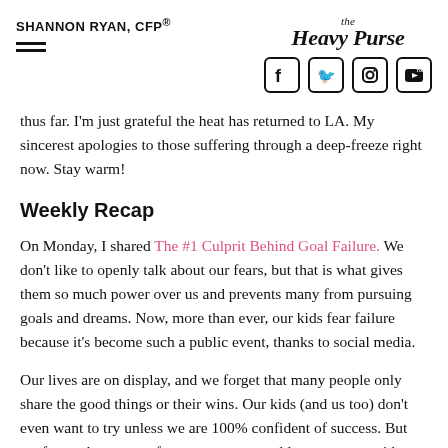SHANNON RYAN, CFP®  |  The Heavy Purse
thus far. I'm just grateful the heat has returned to LA. My sincerest apologies to those suffering through a deep-freeze right now. Stay warm!
Weekly Recap
On Monday, I shared The #1 Culprit Behind Goal Failure. We don't like to openly talk about our fears, but that is what gives them so much power over us and prevents many from pursuing goals and dreams. Now, more than ever, our kids fear failure because it's become such a public event, thanks to social media.
Our lives are on display, and we forget that many people only share the good things or their wins. Our kids (and us too) don't even want to try unless we are 100% confident of success. But we forget that many of our successes would never occur without